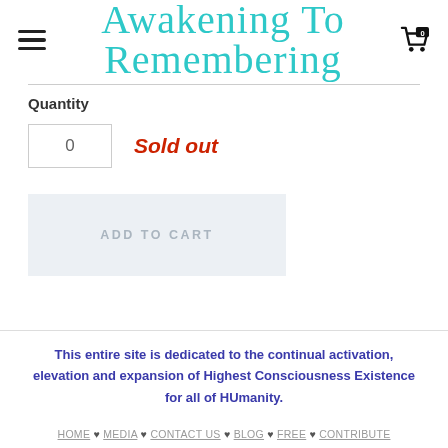Awakening To Remembering
Quantity
0
Sold out
ADD TO CART
This entire site is dedicated to the continual activation, elevation and expansion of Highest Consciousness Existence for all of HUmanity.
HOME ♥ MEDIA ♥ CONTACT US ♥ BLOG ♥ FREE ♥ CONTRIBUTE